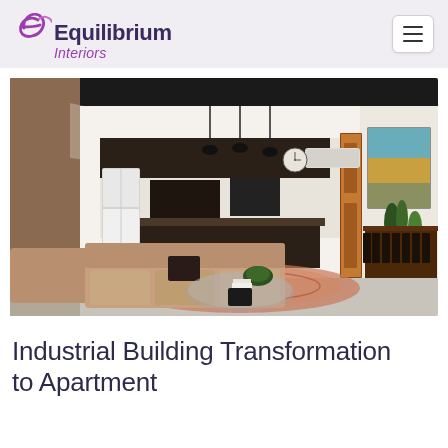[Figure (logo): Equilibrium Interiors logo with stylized purple 'e' swoosh icon and text 'Equilibrium' in dark purple bold and 'Interiors' in purple italic below]
[Figure (photo): Interior photo of an open-plan living space in an industrial apartment conversion. Features a large leather sofa, glass coffee table with plant, patterned rug, dark kitchen cabinetry with pendant lights, white fridge, and long dining table with chairs. Artwork on the right wall, polished concrete floor.]
Industrial Building Transformation to Apartment